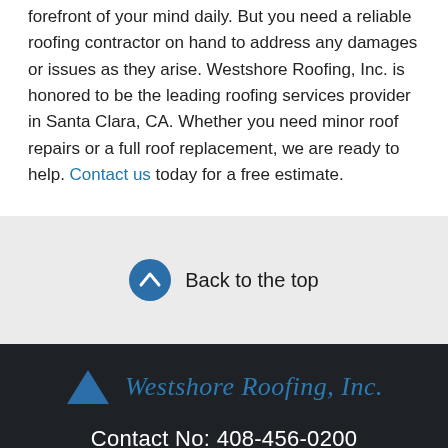forefront of your mind daily. But you need a reliable roofing contractor on hand to address any damages or issues as they arise. Westshore Roofing, Inc. is honored to be the leading roofing services provider in Santa Clara, CA. Whether you need minor roof repairs or a full roof replacement, we are ready to help. Contact us today for a free estimate.
Back to the top
[Figure (logo): Westshore Roofing, Inc. logo with blue triangle/roof icon and italic text]
Contact No: 408-456-0200